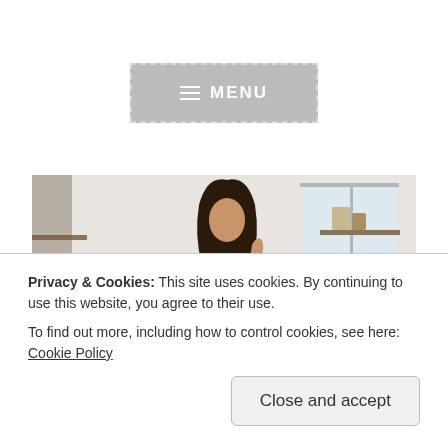[Figure (screenshot): Menu button with hamburger icon and dashed border, grey background, white text reading MENU]
[Figure (photo): Woman with long dark hair in a modern white kitchen, smiling, touching her hair, with a cactus plant and window in background]
MOM LIFE
W...C...P...
Privacy & Cookies: This site uses cookies. By continuing to use this website, you agree to their use.
To find out more, including how to control cookies, see here: Cookie Policy
Close and accept